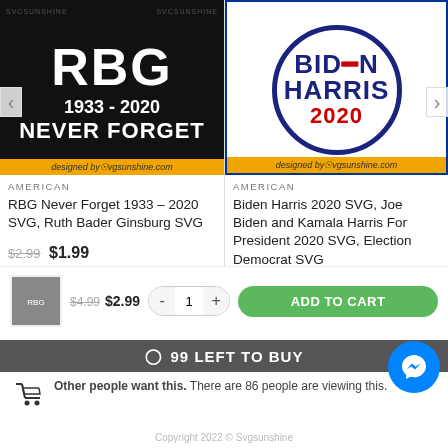[Figure (photo): RBG Never Forget 1933-2020 SVG product image on black background with gold banner]
[Figure (photo): Biden Harris 2020 SVG product image with circular logo on white background with gold banner]
AMERICAN
RBG Never Forget 1933 – 2020 SVG, Ruth Bader Ginsburg SVG
AMERICAN
Biden Harris 2020 SVG, Joe Biden and Kamala Harris For President 2020 SVG, Election Democrat SVG
$2.99  $1.99
$4.99  $2.99
$4.99  $2.99  -  1  +  ADD TO CART
99 LEFT TO BUY
Other people want this. There are 86 people are viewing this.
Copyright 2022 © Svgsunshine